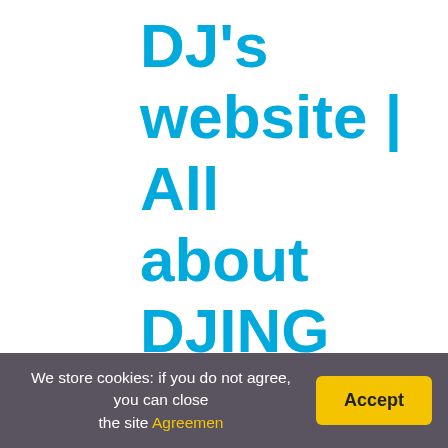DJ's website | All about DJING and music
You might be interested: Often asked: Hov
Why did Steve and DJ Break Up?
The next day, D.J. takes Steve to Eagle Mountain, where they are no longer as passionate about their relationship, gone out of it.
Was Kimmy really pregnant in Fuller Hou
We store cookies: if you do not agree, you can close the site Agreemen